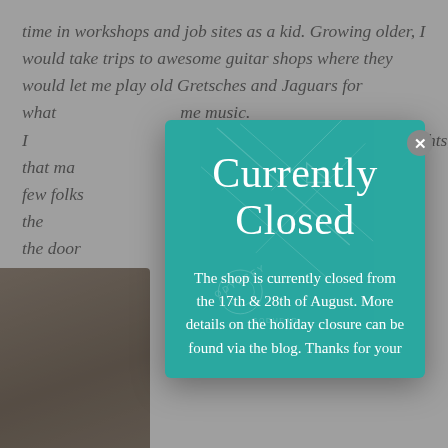time in workshops and job sites as a kid. Growing older, I would take trips to awesome guitar shops where they would let me play old Gretsches and Jaguars for what… me music. I… Heights, that ma… f the few folks the… ily while the door… bsonal connecti… rtist, the artisan a… e involved.
[Figure (photo): Partial view of a dark brown photograph or image in the bottom-left corner, partially obscured by the modal overlay]
[Figure (screenshot): Modal popup overlay on a teal/turquoise background with decorative lines, showing 'Currently Closed' heading and notice text about shop being closed from 17th & 28th of August]